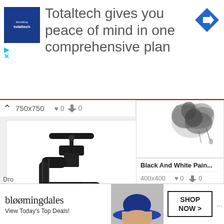[Figure (screenshot): Advertisement banner: Totaltech logo on blue square, text 'Totaltech gives you peace of mind in one comprehensive plan', blue diamond arrow icon on right]
[Figure (screenshot): Left column showing chevron up icon, dimension label 750x750, heart icon with 0, download icon with 0]
[Figure (illustration): Black and white illustration of a water faucet/tap with decorative droplets falling from it shaped like peacock feathers with eye patterns]
Dro...
[Figure (photo): Black and white ink/paint splash photo - animal or bird partial view at top]
Black And White Pain...
400x400   ♥ 0   ⬇ 0
[Figure (photo): Black and white dramatic photo of a silhouetted person standing on water with large splash/explosion effect]
CLOSE
[Figure (screenshot): Bloomingdale's advertisement: logo text, 'View Today's Top Deals!', woman with hat photo, SHOP NOW > button]